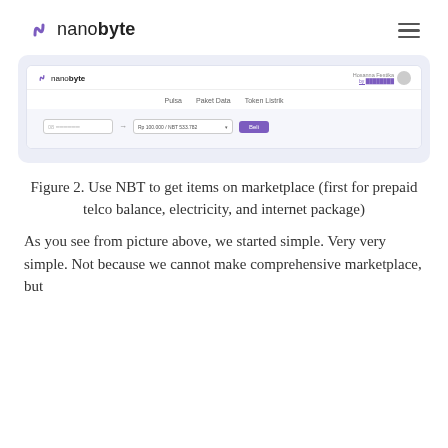nanobyte
[Figure (screenshot): Screenshot of the nanobyte marketplace web application showing navigation tabs (Pulsa, Paket Data, Token Listrik), an input field, a denomination selector showing 'Rp 100.000 / NBT 533.782', and a purple 'Beli' (buy) button.]
Figure 2. Use NBT to get items on marketplace (first for prepaid telco balance, electricity, and internet package)
As you see from picture above, we started simple. Very very simple. Not because we cannot make comprehensive marketplace, but